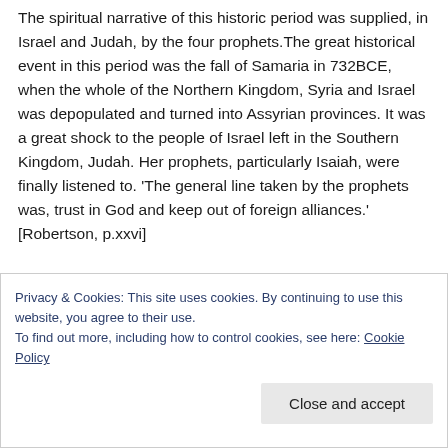The spiritual narrative of this historic period was supplied, in Israel and Judah, by the four prophets.The great historical event in this period was the fall of Samaria in 732BCE, when the whole of the Northern Kingdom, Syria and Israel was depopulated and turned into Assyrian provinces. It was a great shock to the people of Israel left in the Southern Kingdom, Judah. Her prophets, particularly Isaiah, were finally listened to. 'The general line taken by the prophets was, trust in God and keep out of foreign alliances.' [Robertson, p.xxvi]
Cookie banner partial text visible
Privacy & Cookies: This site uses cookies. By continuing to use this website, you agree to their use. To find out more, including how to control cookies, see here: Cookie Policy
Close and accept